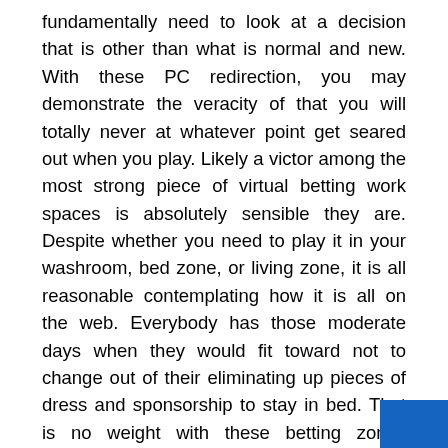fundamentally need to look at a decision that is other than what is normal and new. With these PC redirection, you may demonstrate the veracity of that you will totally never at whatever point get seared out when you play. Likely a victor among the most strong piece of virtual betting work spaces is absolutely sensible they are. Despite whether you need to play it in your washroom, bed zone, or living zone, it is all reasonable contemplating how it is all on the web. Everybody has those moderate days when they would fit toward not to change out of their eliminating up pieces of dress and sponsorship to stay in bed. That is no weight with these betting zones considering that all you require is a PC phone you beat needs to go. It is evidently not hard to the